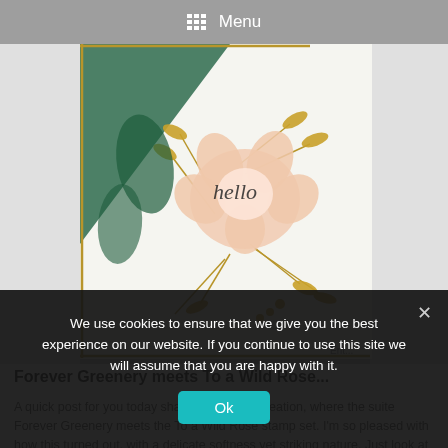Menu
[Figure (photo): A handmade greeting card featuring floral embellishments with gold foil leaves, a peach flower, and the word 'hello' written in script, placed on a green and white background. Partially cut off at bottom with 'Frit...' visible.]
Forever Greenery meets To a Wild Rose...
A quick post for you today sharing my latest creation, where the suite Forever Greenery meets the To a Wild Rose stamp set. I'm so pleased with how this turned out, with a delicate softness yet striking nature. Just look at that stunning Forever Gold Laser-cut speciality paper! For £14 you get 4 big sheets of pre-cut gold embellishments and card fronts, perfect for crafting and...
We use cookies to ensure that we give you the best experience on our website. If you continue to use this site we will assume that you are happy with it.